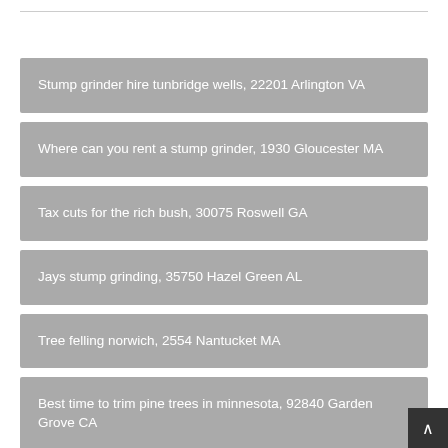Stump grinder hire tunbridge wells, 22201 Arlington VA
Where can you rent a stump grinder, 1930 Gloucester MA
Tax cuts for the rich bush, 30075 Roswell GA
Jays stump grinding, 35750 Hazel Green AL
Tree felling norwich, 2554 Nantucket MA
Best time to trim pine trees in minnesota, 92840 Garden Grove CA
Tree stump removal dynamite for purchase, 30101 Acworth GA